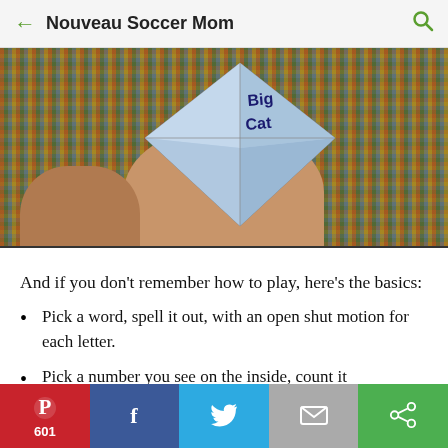Nouveau Soccer Mom
[Figure (photo): Partial photo of hands holding a paper fortune teller/cootie catcher with 'Big Cat' written on one of the flaps, against a colorful woven mat background]
And if you don't remember how to play, here's the basics:
Pick a word, spell it out, with an open shut motion for each letter.
Pick a number you see on the inside, count it
601 | Pinterest | Facebook | Twitter | Email | Other